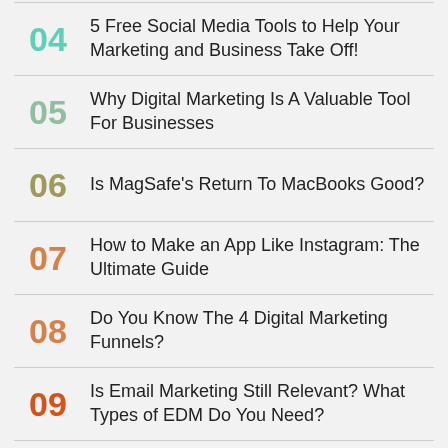04 5 Free Social Media Tools to Help Your Marketing and Business Take Off!
05 Why Digital Marketing Is A Valuable Tool For Businesses
06 Is MagSafe's Return To MacBooks Good?
07 How to Make an App Like Instagram: The Ultimate Guide
08 Do You Know The 4 Digital Marketing Funnels?
09 Is Email Marketing Still Relevant? What Types of EDM Do You Need?
10 NASA Was Never Meant To Study Oceans